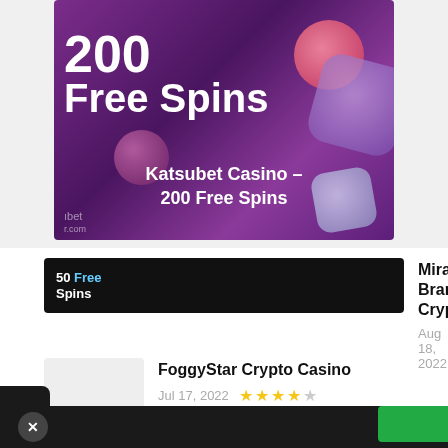[Figure (screenshot): Casino promotional banner showing '200 Free Spins' text on purple background with dice and slot machine character decorations. Overlay text reads 'Katsubet Casino – 200 Free Spins'.]
Katsubet Casino – 200 Free Spins
[Figure (photo): Thumbnail for MiraxCasino article showing '50 Free Spins' on dark background with a person in red dress]
MiraxCasino – Brand New Crypto Casino
Aug 18, 2022  ★★★★☆
[Figure (illustration): Placeholder thumbnail for FoggyStar Crypto Casino article (light gray box)]
FoggyStar Crypto Casino
Jul 17, 2022  ★★★★☆